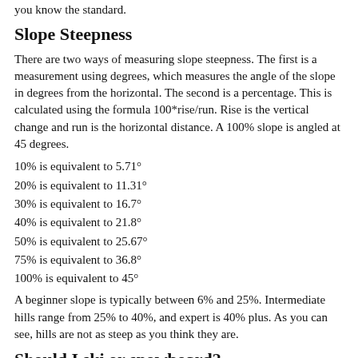you know the standard.
Slope Steepness
There are two ways of measuring slope steepness. The first is a measurement using degrees, which measures the angle of the slope in degrees from the horizontal. The second is a percentage. This is calculated using the formula 100*rise/run. Rise is the vertical change and run is the horizontal distance. A 100% slope is angled at 45 degrees.
10% is equivalent to 5.71°
20% is equivalent to 11.31°
30% is equivalent to 16.7°
40% is equivalent to 21.8°
50% is equivalent to 25.67°
75% is equivalent to 36.8°
100% is equivalent to 45°
A beginner slope is typically between 6% and 25%. Intermediate hills range from 25% to 40%, and expert is 40% plus. As you can see, hills are not as steep as you think they are.
Should I ski or snowboard?